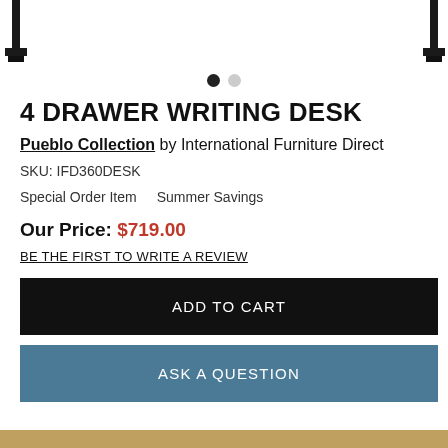[Figure (photo): Product image showing parts of a 4 drawer writing desk on white background, with two dark desk legs/feet visible at left and right edges]
4 DRAWER WRITING DESK
Pueblo Collection by International Furniture Direct
SKU: IFD360DESK
Special Order Item   Summer Savings
Our Price: $719.00
BE THE FIRST TO WRITE A REVIEW
ADD TO CART
ASK A QUESTION